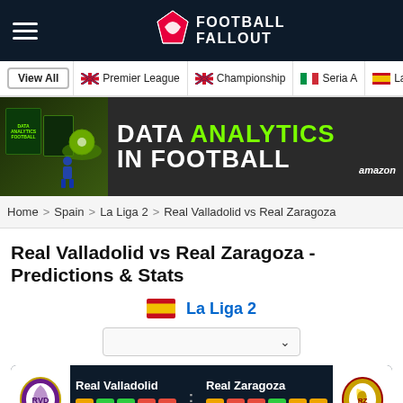Football Fallout - navigation header
View All | Premier League | Championship | Seria A | La Liga
[Figure (illustration): Data Analytics in Football book advertisement banner with green background and Amazon branding]
Home > Spain > La Liga 2 > Real Valladolid vs Real Zaragoza
Real Valladolid vs Real Zaragoza - Predictions & Stats
La Liga 2
[Figure (screenshot): Match card showing Real Valladolid vs Real Zaragoza with team logos, form badges D W W L L and D L L W D D]
Real Valladolid D W W L L
Real Zaragoza D L L W D D